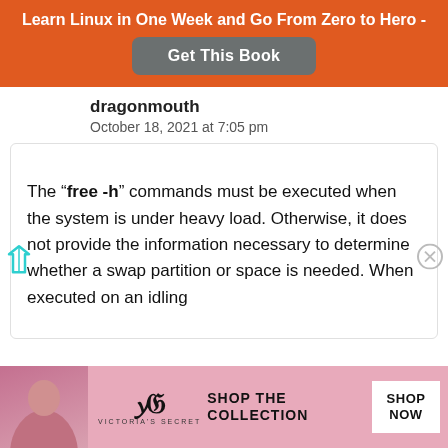Learn Linux in One Week and Go From Zero to Hero -
Get This Book
dragonmouth
October 18, 2021 at 7:05 pm
The “free -h” commands must be executed when the system is under heavy load. Otherwise, it does not provide the information necessary to determine whether a swap partition or space is needed. When executed on an idling
[Figure (photo): Victoria's Secret advertisement banner with a woman, VS logo, 'SHOP THE COLLECTION' text, and 'SHOP NOW' button]